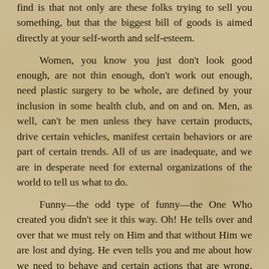find is that not only are these folks trying to sell you something, but that the biggest bill of goods is aimed directly at your self-worth and self-esteem.
Women, you know you just don't look good enough, are not thin enough, don't work out enough, need plastic surgery to be whole, are defined by your inclusion in some health club, and on and on. Men, as well, can't be men unless they have certain products, drive certain vehicles, manifest certain behaviors or are part of certain trends. All of us are inadequate, and we are in desperate need for external organizations of the world to tell us what to do.
Funny—the odd type of funny—the One Who created you didn't see it this way. Oh! He tells over and over that we must rely on Him and that without Him we are lost and dying. He even tells you and me about how we need to behave and certain actions that are wrong. However, when He created you and me in